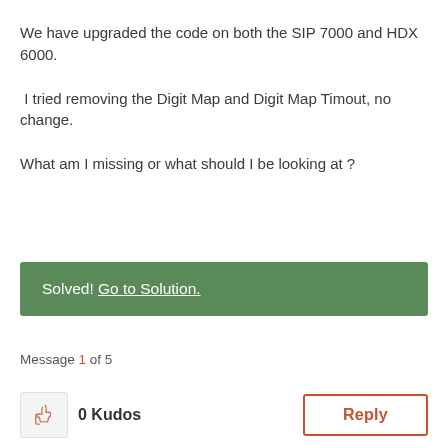We have upgraded the code on both the SIP 7000 and HDX 6000.
I tried removing the Digit Map and Digit Map Timout, no change.
What am I missing or what should I be looking at ?
Solved! Go to Solution.
Message 1 of 5
0 Kudos
Reply